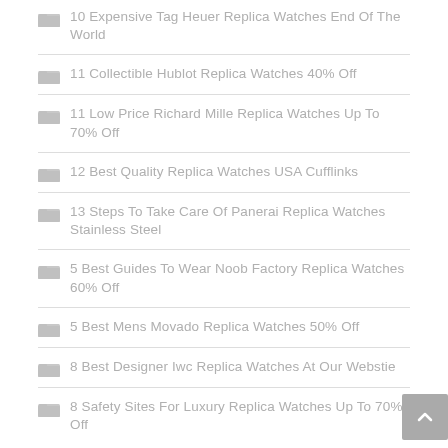10 Expensive Tag Heuer Replica Watches End Of The World
11 Collectible Hublot Replica Watches 40% Off
11 Low Price Richard Mille Replica Watches Up To 70% Off
12 Best Quality Replica Watches USA Cufflinks
13 Steps To Take Care Of Panerai Replica Watches Stainless Steel
5 Best Guides To Wear Noob Factory Replica Watches 60% Off
5 Best Mens Movado Replica Watches 50% Off
8 Best Designer Iwc Replica Watches At Our Webstie
8 Safety Sites For Luxury Replica Watches Up To 70% Off